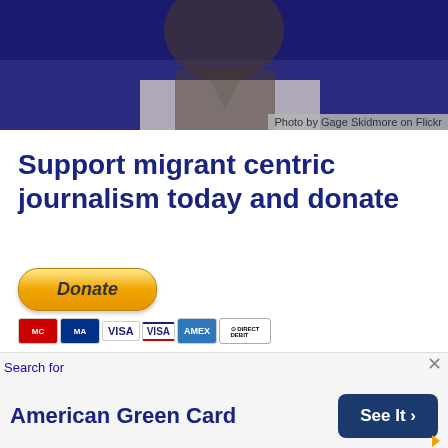[Figure (photo): Partial photo of a person in a suit with dark blue background, attribution caption 'Photo by Gage Skidmore on Flickr']
Photo by Gage Skidmore on Flickr
Support migrant centric journalism today and donate
[Figure (other): PayPal Donate button with payment method icons (MasterCard, Maestro, VISA, VISA Debit, AmericanExpress, Direct Debit)]
An advisor to Mitt Romney has launched a lawsuit attacking President Obama's Deferred Action for Childhood Arrivals (DACA) programme, thereby making illegal immigration a hot election issue.
Kris Kobach, an advisor to the Romney campaign on immigration, is the lawyer for ten government employees,
Search for
American Green Card
See It >